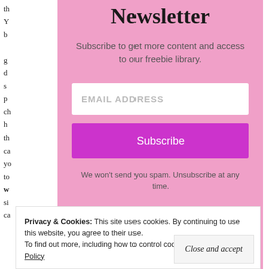Newsletter
Subscribe to get more content and access to our freebie library.
EMAIL ADDRESS
Subscribe
We won't send you spam. Unsubscribe at any time.
Privacy & Cookies: This site uses cookies. By continuing to use this website, you agree to their use. To find out more, including how to control cookies, see here: Cookie Policy
Close and accept